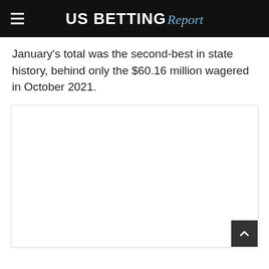US BETTING Report
January's total was the second-best in state history, behind only the $60.16 million wagered in October 2021.
[Figure (other): White content box area with a back-to-top arrow button in the bottom right corner]